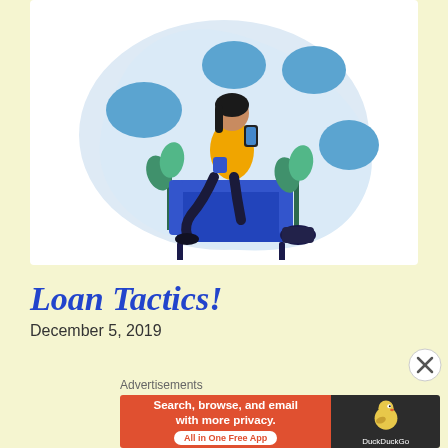[Figure (illustration): Illustration of a woman in a yellow sweater sitting on a blue chair, holding a phone and a blue cup, with a light blue blob shape background containing darker blue polka dots, and green plants on the side.]
Loan Tactics!
December 5, 2019
Advertisements
[Figure (other): DuckDuckGo advertisement banner: 'Search, browse, and email with more privacy. All in One Free App' on orange background, with DuckDuckGo logo on dark background.]